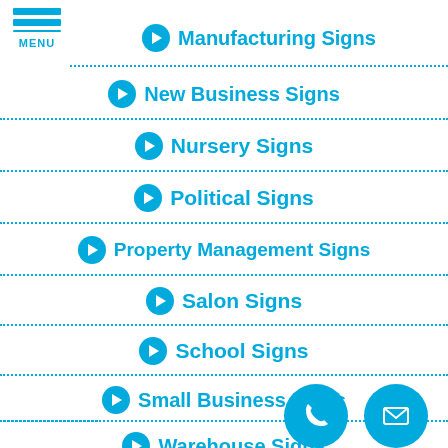[Figure (logo): Hamburger menu icon with three blue horizontal bars and MENU label]
Manufacturing Signs
New Business Signs
Nursery Signs
Political Signs
Property Management Signs
Salon Signs
School Signs
Small Business Signs
Warehouse Signs
[Figure (illustration): Two circular blue contact buttons: a phone icon and an envelope/email icon]